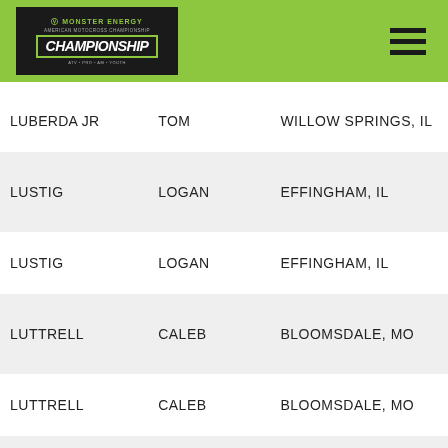[Figure (logo): Monster Energy AMA Motocross Championship logo on black background]
| Last Name | First Name | City, State |
| --- | --- | --- |
| LUBERDA JR | TOM | WILLOW SPRINGS, IL |
| LUSTIG | LOGAN | EFFINGHAM, IL |
| LUSTIG | LOGAN | EFFINGHAM, IL |
| LUTTRELL | CALEB | BLOOMSDALE, MO |
| LUTTRELL | CALEB | BLOOMSDALE, MO |
| LYONS | CHAYTEN | FREDONIA, KS |